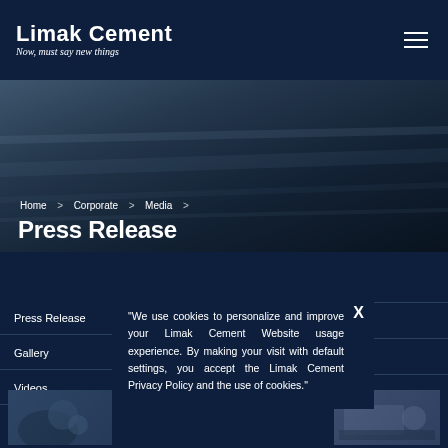Limak Cement — Now, must say new things
[Figure (screenshot): Hero banner with blurred industrial/machinery background in dark blue tones]
Home > Corporate > Media >
Press Release
Press Release
Gallery
Videos
"We use cookies to personalize and improve your Limak Cement Website usage experience. By making your visit with default settings, you accept the Limak Cement Privacy Policy and the use of cookies."